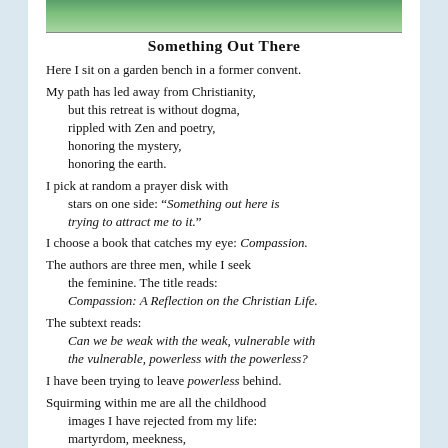[Figure (photo): A photo strip showing a garden scene with green foliage]
Something Out There
Here I sit on a garden bench in a former convent.
My path has led away from Christianity,
   but this retreat is without dogma,
   rippled with Zen and poetry,
   honoring the mystery,
   honoring the earth.
I pick at random a prayer disk with
   stars on one side: “Something out here is
   trying to attract me to it.”
I choose a book that catches my eye: Compassion.
The authors are three men, while I seek
   the feminine. The title reads:
   Compassion: A Reflection on the Christian Life.
The subtext reads:
   Can we be weak with the weak, vulnerable with
   the vulnerable, powerless with the powerless?
I have been trying to leave powerless behind.
Squirming within me are all the childhood
   images I have rejected from my life:
   martyrdom, meekness,
   missionary to China, missing out